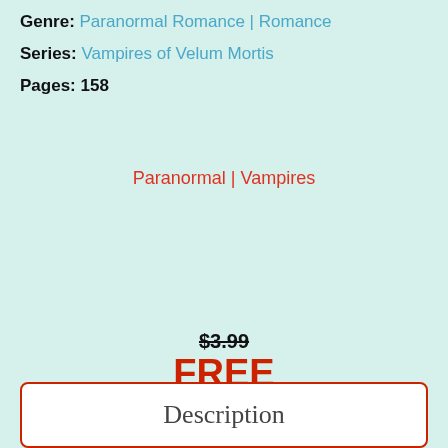Genre: Paranormal Romance | Romance
Series: Vampires of Velum Mortis
Pages: 158
Paranormal | Vampires
$3.99
FREE
AMAZON BOOKS
Description